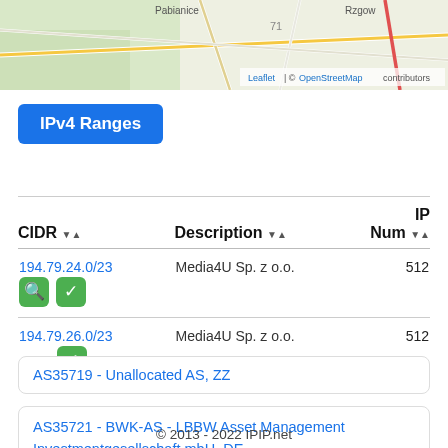[Figure (map): Street map showing area near Rzgow, Poland with roads and greenery. Attribution: Leaflet | © OpenStreetMap contributors]
IPv4 Ranges
| CIDR | Description | IP Num |
| --- | --- | --- |
| 194.79.24.0/23 | Media4U Sp. z o.o. | 512 |
| 194.79.26.0/23 | Media4U Sp. z o.o. | 512 |
AS35719 - Unallocated AS, ZZ
AS35721 - BWK-AS - LBBW Asset Management Investmentgesellschaft mbH, DE
© 2013 - 2022 IPIP.net